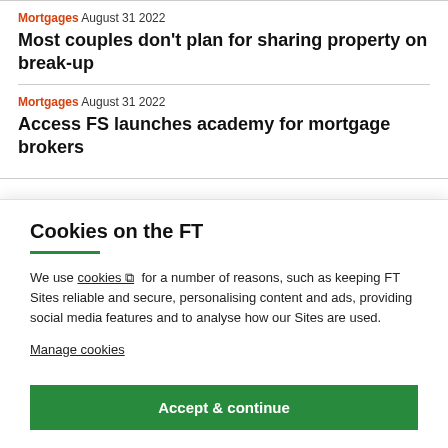Mortgages August 31 2022
Most couples don't plan for sharing property on break-up
Mortgages August 31 2022
Access FS launches academy for mortgage brokers
Cookies on the FT
We use cookies ⧉ for a number of reasons, such as keeping FT Sites reliable and secure, personalising content and ads, providing social media features and to analyse how our Sites are used.
Manage cookies
Accept & continue